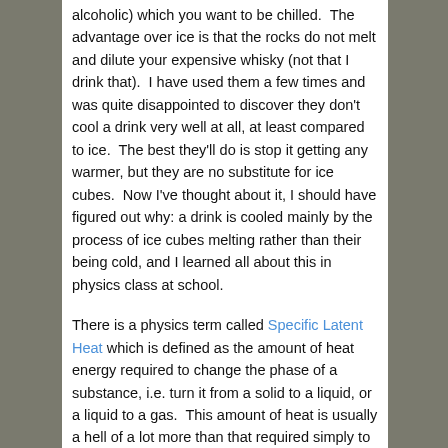alcoholic) which you want to be chilled.  The advantage over ice is that the rocks do not melt and dilute your expensive whisky (not that I drink that).  I have used them a few times and was quite disappointed to discover they don't cool a drink very well at all, at least compared to ice.  The best they'll do is stop it getting any warmer, but they are no substitute for ice cubes.  Now I've thought about it, I should have figured out why: a drink is cooled mainly by the process of ice cubes melting rather than their being cold, and I learned all about this in physics class at school.
There is a physics term called Specific Latent Heat which is defined as the amount of heat energy required to change the phase of a substance, i.e. turn it from a solid to a liquid, or a liquid to a gas.  This amount of heat is usually a hell of a lot more than that required simply to increase the substance's temperature, and I remember my physics teacher telling us why you feel so cold when you step out of a shower: the heat taken from your body to evapourate the water is 2,265kJ per kg (which is, of course, why we have evolved to sweat to cool us down).